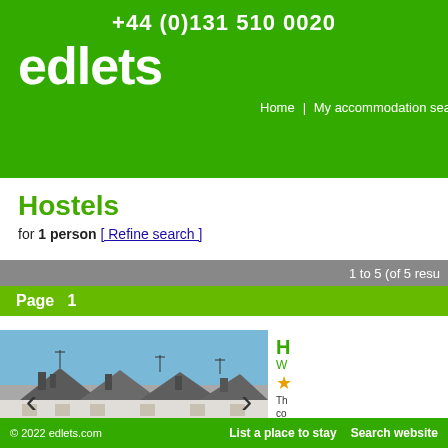+44 (0)131 510 0020 | edlets | Home | My accommodation search | Booking
Hostels
for 1 person [ Refine search ]
1 to 5 (of 5 results)
Page  1
[Figure (photo): Rooftop view of a row of houses with chimneys against a blue sky]
Previous  Next
© 2022 edlets.com  List a place to stay  Search website